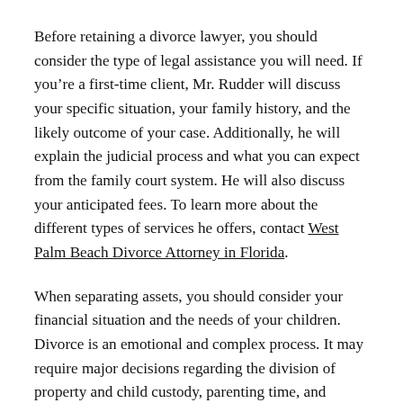Before retaining a divorce lawyer, you should consider the type of legal assistance you will need. If you're a first-time client, Mr. Rudder will discuss your specific situation, your family history, and the likely outcome of your case. Additionally, he will explain the judicial process and what you can expect from the family court system. He will also discuss your anticipated fees. To learn more about the different types of services he offers, contact West Palm Beach Divorce Attorney in Florida.
When separating assets, you should consider your financial situation and the needs of your children. Divorce is an emotional and complex process. It may require major decisions regarding the division of property and child custody, parenting time, and spousal support. Your legal counsel should have extensive experience handling these types of cases.